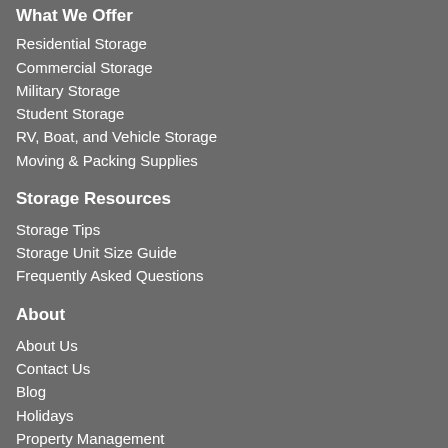What We Offer
Residential Storage
Commercial Storage
Military Storage
Student Storage
RV, Boat, and Vehicle Storage
Moving & Packing Supplies
Storage Resources
Storage Tips
Storage Unit Size Guide
Frequently Asked Questions
About
About Us
Contact Us
Blog
Holidays
Property Management